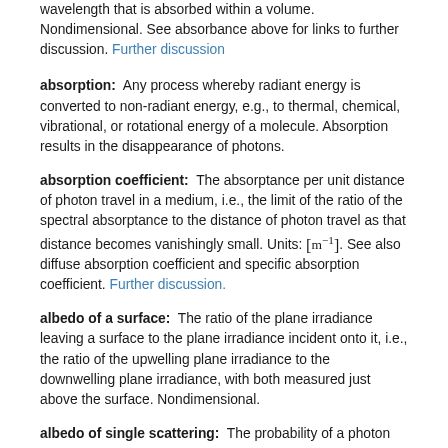wavelength that is absorbed within a volume. Nondimensional. See absorbance above for links to further discussion. Further discussion
absorption: Any process whereby radiant energy is converted to non-radiant energy, e.g., to thermal, chemical, vibrational, or rotational energy of a molecule. Absorption results in the disappearance of photons.
absorption coefficient: The absorptance per unit distance of photon travel in a medium, i.e., the limit of the ratio of the spectral absorptance to the distance of photon travel as that distance becomes vanishingly small. Units: [m⁻¹]. See also diffuse absorption coefficient and specific absorption coefficient. Further discussion.
albedo of a surface: The ratio of the plane irradiance leaving a surface to the plane irradiance incident onto it, i.e., the ratio of the upwelling plane irradiance to the downwelling plane irradiance, with both measured just above the surface. Nondimensional.
albedo of single scattering: The probability of a photon